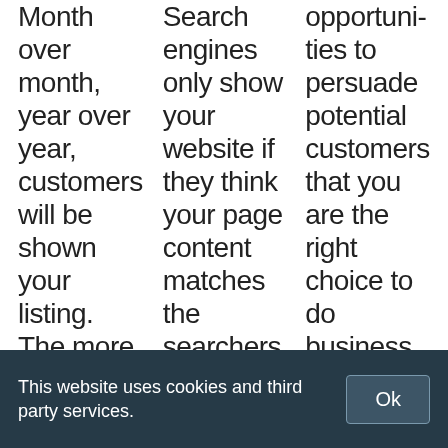Month over month, year over year, customers will be shown your listing. The more times a
Search engines only show your website if they think your page content matches the searchers query
opportunities to persuade potential customers that you are the right choice to do business with.
This website uses cookies and third party services.